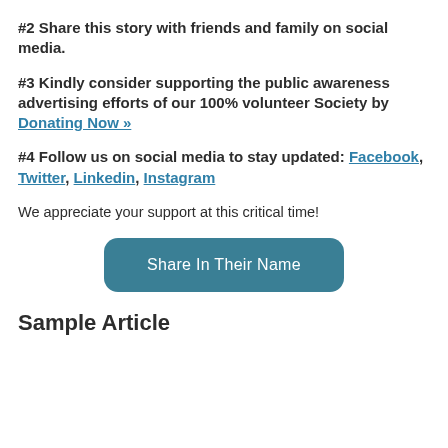#2 Share this story with friends and family on social media.
#3 Kindly consider supporting the public awareness advertising efforts of our 100% volunteer Society by Donating Now »
#4 Follow us on social media to stay updated: Facebook, Twitter, Linkedin, Instagram
We appreciate your support at this critical time!
[Figure (other): Button labeled 'Share In Their Name' with teal rounded rectangle background]
Sample Article